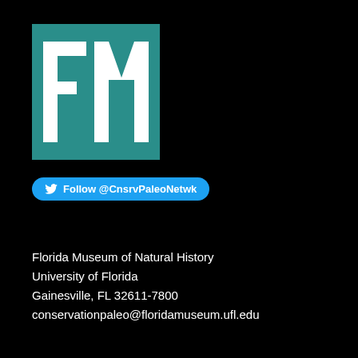[Figure (logo): Florida Museum (FM) logo — teal/dark-cyan square background with a white stylized FM lettermark]
[Figure (other): Twitter Follow button with bird icon: Follow @CnsrvPaleoNetwk]
Florida Museum of Natural History
University of Florida
Gainesville, FL 32611-7800
conservationpaleo@floridamuseum.ufl.edu